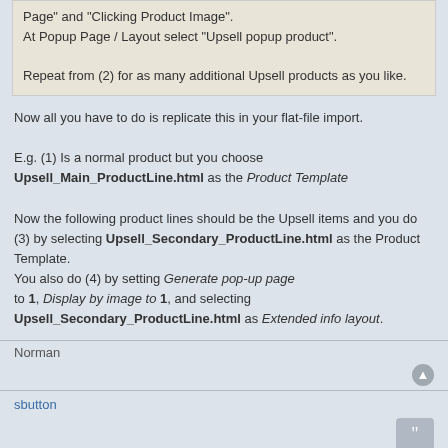Page" and "Clicking Product Image".
At Popup Page / Layout select "Upsell popup product".
Repeat from (2) for as many additional Upsell products as you like.
Now all you have to do is replicate this in your flat-file import.
E.g. (1) Is a normal product but you choose Upsell_Main_ProductLine.html as the Product Template
Now the following product lines should be the Upsell items and you do (3) by selecting Upsell_Secondary_ProductLine.html as the Product Template.
You also do (4) by setting Generate pop-up page to 1, Display by image to 1, and selecting Upsell_Secondary_ProductLine.html as Extended info layout.
Norman
sbutton
RE: Upsell import
Wed Sep 21, 2005 11:53 pm